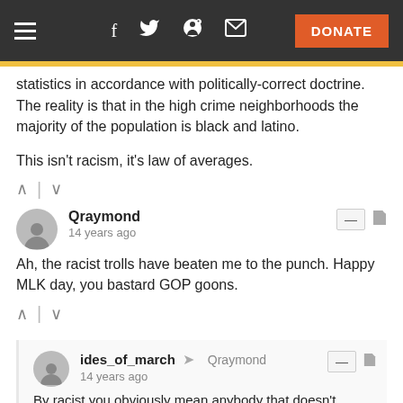[Figure (screenshot): Navigation bar with hamburger menu, social icons (Facebook, Twitter, Reddit, email), and orange DONATE button]
statistics in accordance with politically-correct doctrine. The reality is that in the high crime neighborhoods the majority of the population is black and latino.

This isn't racism, it's law of averages.
Qraymond
14 years ago
Ah, the racist trolls have beaten me to the punch. Happy MLK day, you bastard GOP goons.
ides_of_march → Qraymond
14 years ago
By racist you obviously mean anybody that doesn't blindly